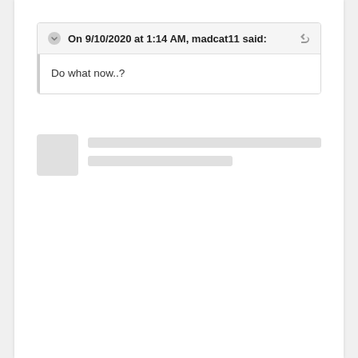[forum page header with logo]
On 9/10/2020 at 1:14 AM, madcat11 said:
Do what now..?
[Figure (other): Placeholder/skeleton loading area showing a user avatar rectangle and two grey placeholder text lines, indicating a forum post being loaded.]